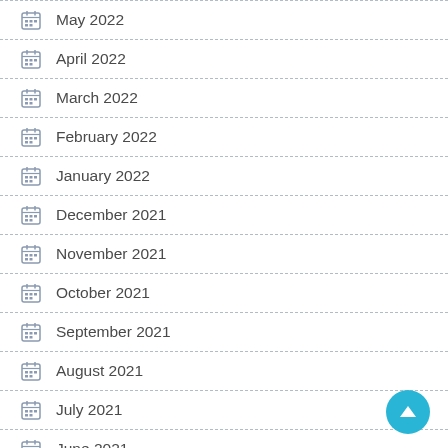May 2022
April 2022
March 2022
February 2022
January 2022
December 2021
November 2021
October 2021
September 2021
August 2021
July 2021
June 2021
May 2021